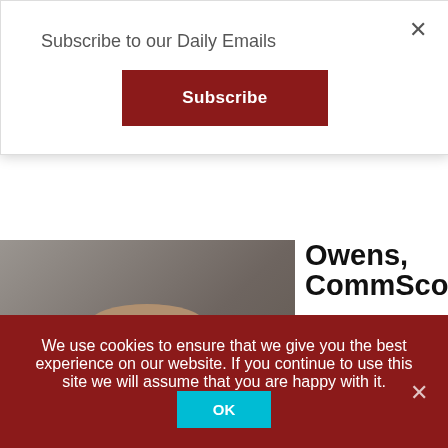Subscribe to our Daily Emails
Subscribe
[Figure (photo): Headshot of Jim Owens, a man in a suit and checkered shirt against a grey background]
Owens, CommScope
Broadband TV News
speaks with Jim Owens, Sr.Director Product
We use cookies to ensure that we give you the best experience on our website. If you continue to use this site we will assume that you are happy with it.
OK